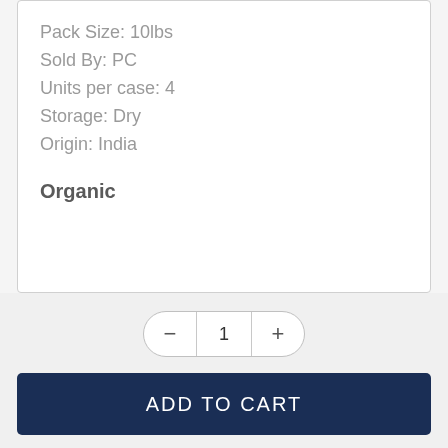Pack Size: 10lbs
Sold By: PC
Units per case: 4
Storage: Dry
Origin: India
Organic
1
ADD TO CART